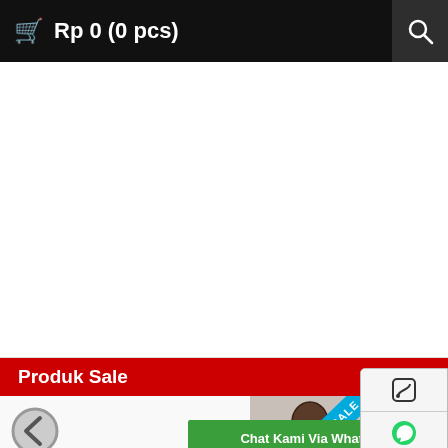Rp 0 (0 pcs)
[Figure (screenshot): White product display area, empty]
[Figure (screenshot): Side floating contact buttons: phone, WhatsApp, email, with text 'dum... con...']
Produk Sale
[Figure (photo): Microphone product in box with SALE ribbon badge]
[Figure (screenshot): Chat Kami Via WhatsApp green button]
[Figure (screenshot): Left carousel arrow and right/up navigation arrow]